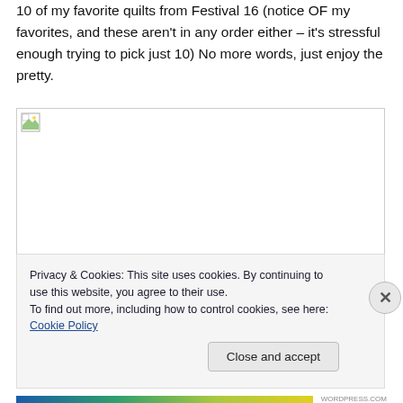10 of my favorite quilts from Festival 16 (notice OF my favorites, and these aren't in any order either – it's stressful enough trying to pick just 10) No more words, just enjoy the pretty.
[Figure (photo): Broken image placeholder with small image icon in top-left corner, bordered box]
Privacy & Cookies: This site uses cookies. By continuing to use this website, you agree to their use.
To find out more, including how to control cookies, see here: Cookie Policy